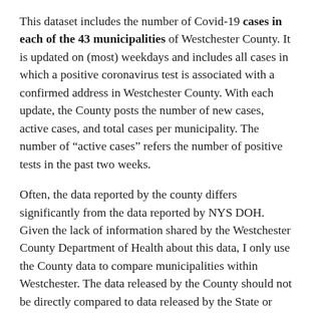This dataset includes the number of Covid-19 cases in each of the 43 municipalities of Westchester County. It is updated on (most) weekdays and includes all cases in which a positive coronavirus test is associated with a confirmed address in Westchester County. With each update, the County posts the number of new cases, active cases, and total cases per municipality. The number of “active cases” refers the number of positive tests in the past two weeks.
Often, the data reported by the county differs significantly from the data reported by NYS DOH. Given the lack of information shared by the Westchester County Department of Health about this data, I only use the County data to compare municipalities within Westchester. The data released by the County should not be directly compared to data released by the State or other sources.
Unfortunately, the County does not currently post historical data. From early May until December 11, the